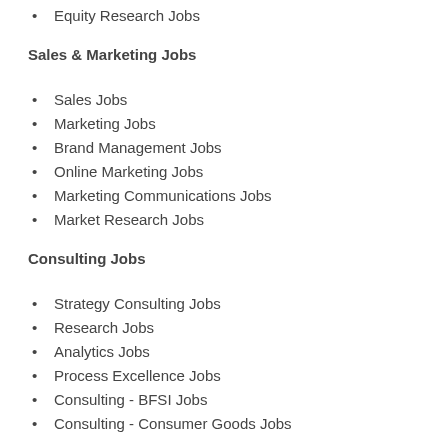Equity Research Jobs
Sales & Marketing Jobs
Sales Jobs
Marketing Jobs
Brand Management Jobs
Online Marketing Jobs
Marketing Communications Jobs
Market Research Jobs
Consulting Jobs
Strategy Consulting Jobs
Research Jobs
Analytics Jobs
Process Excellence Jobs
Consulting - BFSI Jobs
Consulting - Consumer Goods Jobs
HR Jobs